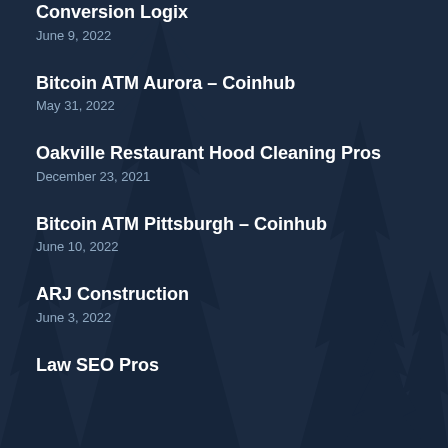Conversion Logix
June 9, 2022
Bitcoin ATM Aurora – Coinhub
May 31, 2022
Oakville Restaurant Hood Cleaning Pros
December 23, 2021
Bitcoin ATM Pittsburgh – Coinhub
June 10, 2022
ARJ Construction
June 3, 2022
Law SEO Pros